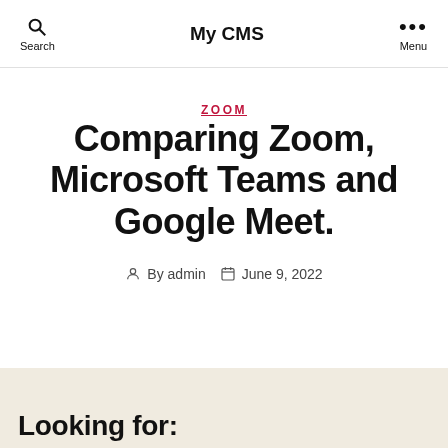Search   My CMS   Menu
ZOOM
Comparing Zoom, Microsoft Teams and Google Meet.
By admin   June 9, 2022
Looking for: